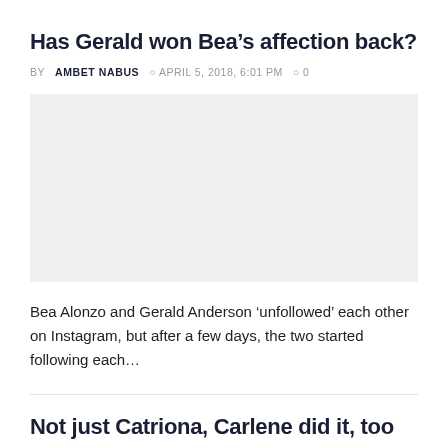Has Gerald won Bea’s affection back?
BY AMBET NABUS ○ APRIL 5, 2018, 6:01 PM ○ 0
[Figure (photo): Image placeholder for article about Gerald and Bea]
Bea Alonzo and Gerald Anderson ‘unfollowed’ each other on Instagram, but after a few days, the two started following each…
Not just Catriona, Carlene did it, too